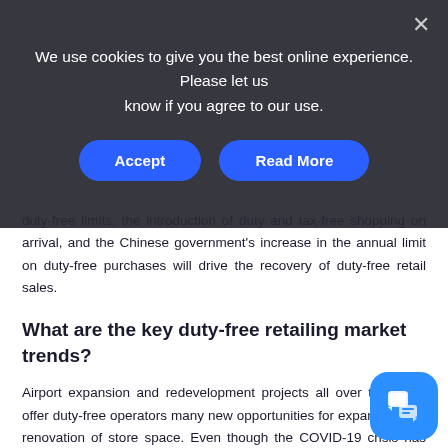We use cookies to give you the best online experience. Please let us know if you agree to our use.
duty-free limits, the introduction of duty and tax-free shopping on arrival, and the Chinese government's increase in the annual limit on duty-free purchases will drive the recovery of duty-free retail sales.
What are the key duty-free retailing market trends?
Airport expansion and redevelopment projects all over the world offer duty-free operators many new opportunities for expansion and renovation of store space. Even though the COVID-19 crisis has grounded many airport projects, ease of travel restrictions, global vaccination drives, and the opening of travel bubbles between countries are helping recovery of global travel numbers. Duty-free retailers developing new supply chains by forging new alliances with suppliers in a bid to diversify their sourcing and expanding